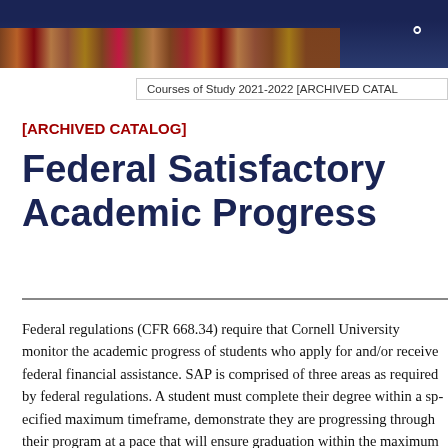[Figure (photo): Dark navy header bar with bookshelf photo and search icon]
Courses of Study 2021-2022 [ARCHIVED CATALOG]
[ARCHIVED CATALOG]
Federal Satisfactory Academic Progress
Federal regulations (CFR 668.34) require that Cornell University monitor the academic progress of students who apply for and/or receive federal financial assistance. SAP is comprised of three areas as required by federal regulations. A student must complete their degree within a specified maximum timeframe, demonstrate they are progressing through their program at a pace that will ensure graduation within the maximum timeframe, and achieve a GPA that is consistent with meeting